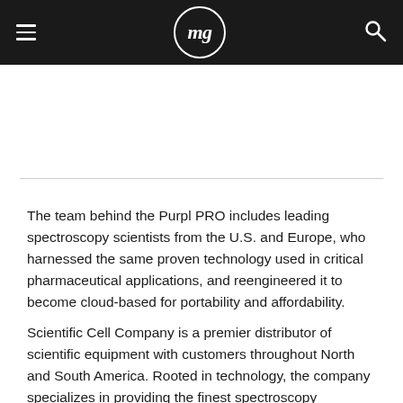mg (logo navigation bar with hamburger menu and search icon)
The team behind the Purpl PRO includes leading spectroscopy scientists from the U.S. and Europe, who harnessed the same proven technology used in critical pharmaceutical applications, and reengineered it to become cloud-based for portability and affordability.
Scientific Cell Company is a premier distributor of scientific equipment with customers throughout North and South America. Rooted in technology, the company specializes in providing the finest spectroscopy equipment from the